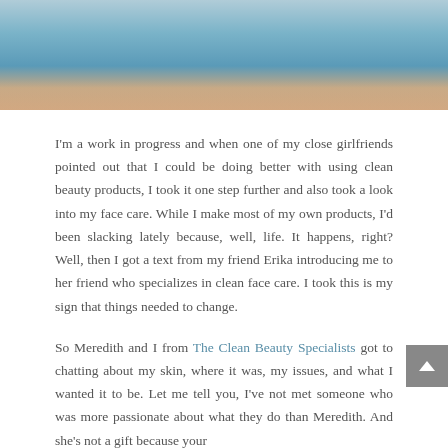[Figure (photo): Close-up photo of hands or skin in water with blue water and light skin tones visible]
I'm a work in progress and when one of my close girlfriends pointed out that I could be doing better with using clean beauty products, I took it one step further and also took a look into my face care. While I make most of my own products, I'd been slacking lately because, well, life. It happens, right? Well, then I got a text from my friend Erika introducing me to her friend who specializes in clean face care. I took this is my sign that things needed to change.
So Meredith and I from The Clean Beauty Specialists got to chatting about my skin, where it was, my issues, and what I wanted it to be. Let me tell you, I've not met someone who was more passionate about what they do than Meredith. And she's not a gift because your